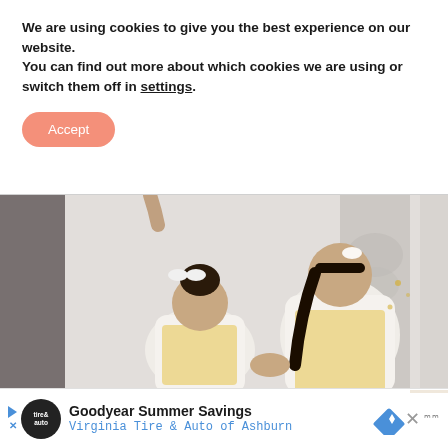We are using cookies to give you the best experience on our website.
You can find out more about which cookies we are using or switch them off in settings.
Accept
[Figure (photo): Two young girls in matching white cardigans and floral dresses holding hands, with a decorative white column in the background. A hand from above is visible at the top. A 'BACK TO TOP' label appears on the right side.]
Goodyear Summer Savings
Virginia Tire & Auto of Ashburn